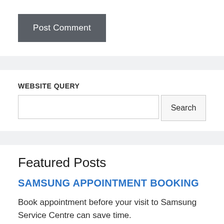[Figure (screenshot): Post Comment button — dark grey rectangular button with white text]
WEBSITE QUERY
[Figure (screenshot): Search input field and Search button]
Featured Posts
SAMSUNG APPOINTMENT BOOKING
Book appointment before your visit to Samsung Service Centre can save time.